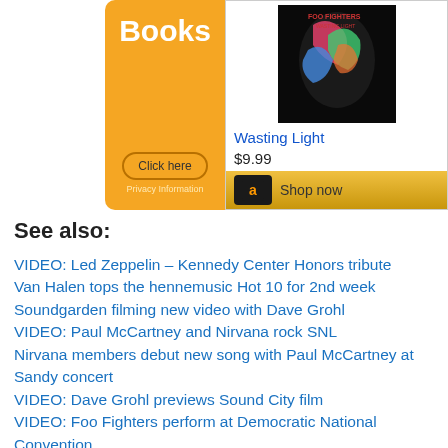[Figure (screenshot): Amazon advertisement showing Books section on left with orange background and a Foo Fighters 'Wasting Light' album on right with price $9.99 and Shop now button]
See also:
VIDEO: Led Zeppelin – Kennedy Center Honors tribute
Van Halen tops the hennemusic Hot 10 for 2nd week
Soundgarden filming new video with Dave Grohl
VIDEO: Paul McCartney and Nirvana rock SNL
Nirvana members debut new song with Paul McCartney at Sandy concert
VIDEO: Dave Grohl previews Sound City film
VIDEO: Foo Fighters perform at Democratic National Convention